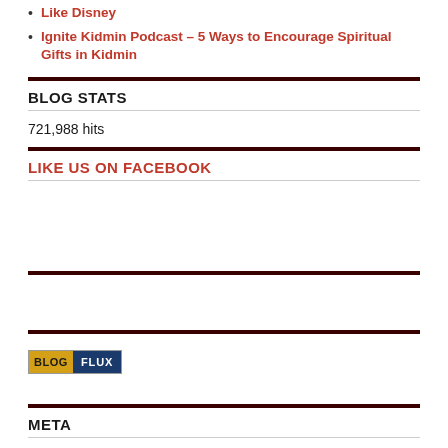Like Disney
Ignite Kidmin Podcast – 5 Ways to Encourage Spiritual Gifts in Kidmin
BLOG STATS
721,988 hits
LIKE US ON FACEBOOK
[Figure (logo): Blog Flux badge with yellow BLOG label and dark blue FLUX label]
META